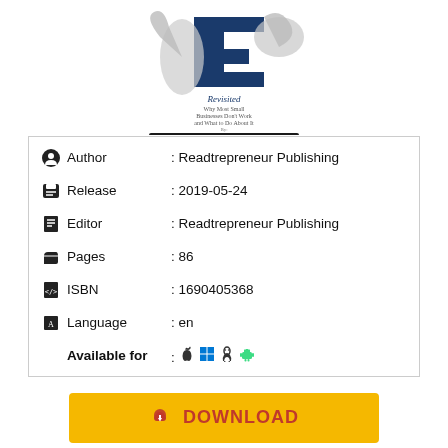[Figure (illustration): Book cover for 'The E-Myth Revisited: Why Most Small Businesses Don't Work and What to Do About It' by Michael E. Gerber, showing a stylized 'E' logo with hands and the author name on a dark banner.]
| Author | : Readtrepreneur Publishing |
| Release | : 2019-05-24 |
| Editor | : Readtrepreneur Publishing |
| Pages | : 86 |
| ISBN | : 1690405368 |
| Language | : en |
| Available for | : 🍎 🪟 🐧 🤖 |
[Figure (other): Yellow DOWNLOAD button with cloud/download icon and red text]